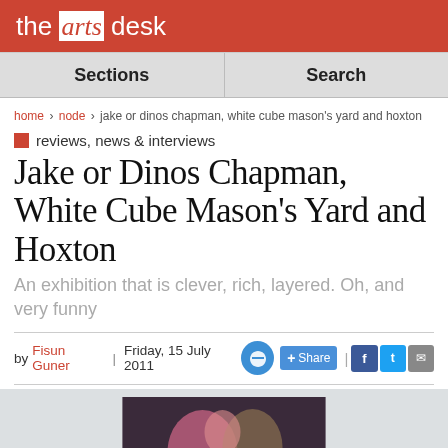the arts desk
Sections | Search
home > node > jake or dinos chapman, white cube mason's yard and hoxton
■ reviews, news & interviews
Jake or Dinos Chapman, White Cube Mason's Yard and Hoxton
An exhibition that is clever, rich, layered. Oh, and very funny
by Fisun Guner | Friday, 15 July 2011
[Figure (photo): Artwork photo showing a painting displayed on a white gallery wall, depicting dark colorful figures]